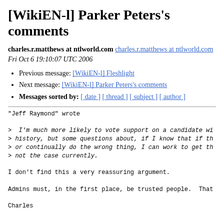[WikiEN-l] Parker Peters's comments
charles.r.matthews at ntlworld.com charles.r.matthews at ntlworld.com
Fri Oct 6 19:10:07 UTC 2006
Previous message: [WikiEN-l] Fleshlight
Next message: [WikiEN-l] Parker Peters's comments
Messages sorted by: [ date ] [ thread ] [ subject ] [ author ]
"Jeff Raymond" wrote

>  I'm much more likely to vote support on a candidate wi...
> history, but some questions about, if I know that if th...
> or continually do the wrong thing, I can work to get th...
> not the case currently.

I don't find this a very reassuring argument.

Admins must, in the first place, be trusted people. That

Charles